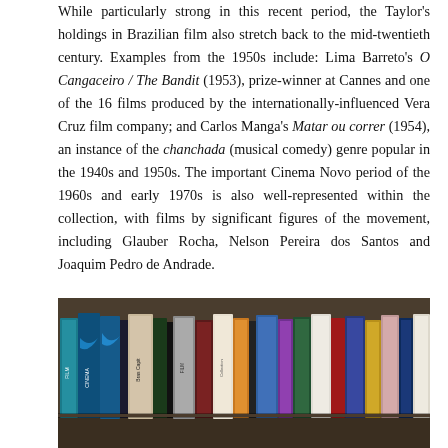While particularly strong in this recent period, the Taylor's holdings in Brazilian film also stretch back to the mid-twentieth century. Examples from the 1950s include: Lima Barreto's O Cangaceiro / The Bandit (1953), prize-winner at Cannes and one of the 16 films produced by the internationally-influenced Vera Cruz film company; and Carlos Manga's Matar ou correr (1954), an instance of the chanchada (musical comedy) genre popular in the 1940s and 1950s. The important Cinema Novo period of the 1960s and early 1970s is also well-represented within the collection, with films by significant figures of the movement, including Glauber Rocha, Nelson Pereira dos Santos and Joaquim Pedro de Andrade.
[Figure (photo): A photograph of a row of DVD/VHS cases on a shelf, seen from the side, showing their spines with colorful covers and titles.]